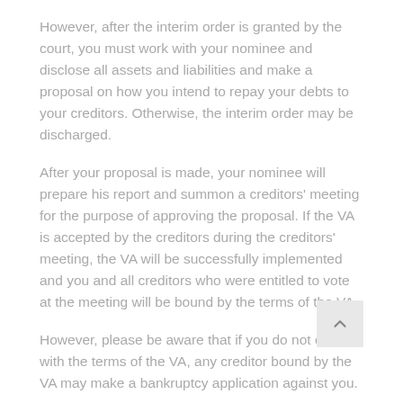However, after the interim order is granted by the court, you must work with your nominee and disclose all assets and liabilities and make a proposal on how you intend to repay your debts to your creditors. Otherwise, the interim order may be discharged.
After your proposal is made, your nominee will prepare his report and summon a creditors' meeting for the purpose of approving the proposal. If the VA is accepted by the creditors during the creditors' meeting, the VA will be successfully implemented and you and all creditors who were entitled to vote at the meeting will be bound by the terms of the VA.
However, please be aware that if you do not comply with the terms of the VA, any creditor bound by the VA may make a bankruptcy application against you.
How We Can Help?